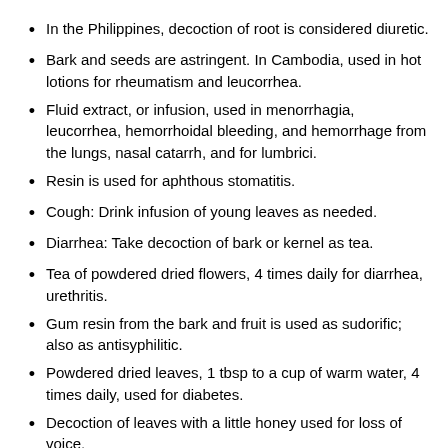In the Philippines, decoction of root is considered diuretic.
Bark and seeds are astringent. In Cambodia, used in hot lotions for rheumatism and leucorrhea.
Fluid extract, or infusion, used in menorrhagia, leucorrhea, hemorrhoidal bleeding, and hemorrhage from the lungs, nasal catarrh, and for lumbrici.
Resin is used for aphthous stomatitis.
Cough: Drink infusion of young leaves as needed.
Diarrhea: Take decoction of bark or kernel as tea.
Tea of powdered dried flowers, 4 times daily for diarrhea, urethritis.
Gum resin from the bark and fruit is used as sudorific; also as antisyphilitic.
Powdered dried leaves, 1 tbsp to a cup of warm water, 4 times daily, used for diabetes.
Decoction of leaves with a little honey used for loss of voice.
Gum resin from bark, mixed with coconut oil, used for